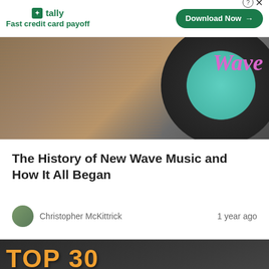[Figure (other): Tally app advertisement banner with logo, tagline 'Fast credit card payoff', and a green 'Download Now' button]
[Figure (photo): Hero image showing vinyl records with a teal/turquoise record label reading 'Wave' in pink cursive script, with wooden shelf background]
The History of New Wave Music and How It All Began
Christopher McKittrick    1 year ago
[Figure (photo): Article thumbnail image with dark background showing text 'TOP 30' and 'HALLOWEEN SO[NGS]' in orange bubble letters with Halloween decorations]